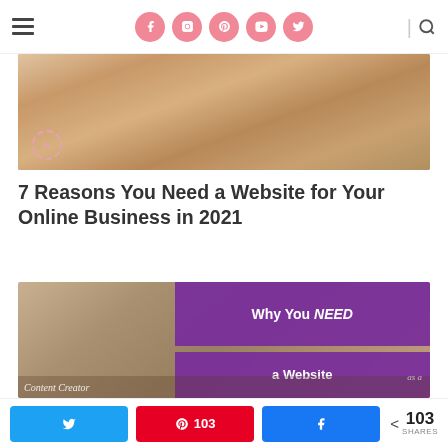Navigation bar with hamburger menu, social icons (Facebook, Instagram, Pinterest, YouTube, Twitter), and search icon
[Figure (photo): Woman with brown hair wearing purple top, raising hand, with a small logo badge overlay bottom-left]
7 Reasons You Need a Website for Your Online Business in 2021
[Figure (photo): Woman smiling with brown hair with purple overlay text reading 'Why You NEED a Website as a Content Creator']
Social share bar: Twitter share button, Pinterest share button with 103 count, Facebook share button, < 103 SHARES